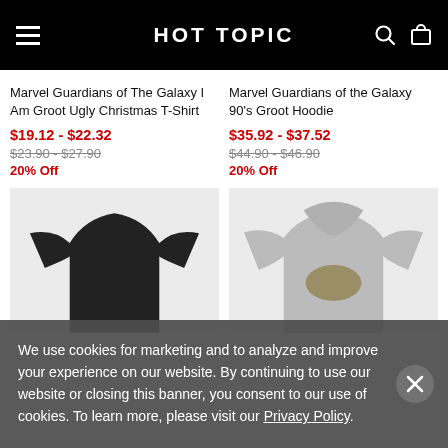HOT TOPIC
Marvel Guardians of The Galaxy I Am Groot Ugly Christmas T-Shirt
$19.12 - $22.32
$23.90 - $27.90
20% Off
Marvel Guardians of the Galaxy 90's Groot Hoodie
$35.92 - $37.52
$44.90 - $46.90
20% Off
[Figure (photo): Black Christmas T-shirt from Guardians of the Galaxy]
[Figure (photo): Gray Groot Hoodie from Guardians of the Galaxy]
We use cookies for marketing and to analyze and improve your experience on our website. By continuing to use our website or closing this banner, you consent to our use of cookies. To learn more, please visit our Privacy Policy.